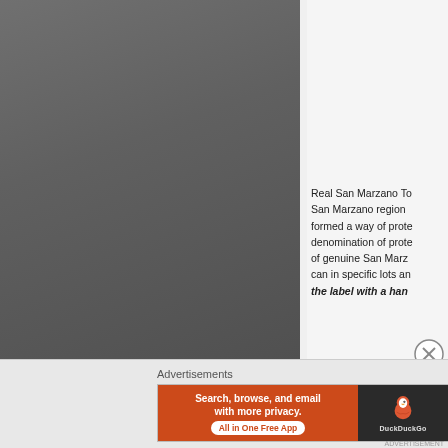[Figure (photo): Large gray/dark background image on the left side, appears to be a torn or shadowed area, taking up most of the left portion of the page]
[Figure (photo): Small product image card in the upper right showing a dark product (likely canned tomatoes) on a grayish background with text 'Sold everyw...' below]
Real San Marzano To... San Marzano region ... formed a way of prote... denomination of prote... of genuine San Marz... can in specific lots an... the label with a han...
Advertisements
[Figure (screenshot): DuckDuckGo advertisement banner. Left orange section reads 'Search, browse, and email with more privacy. All in One Free App'. Right dark section shows DuckDuckGo duck logo and text 'DuckDuckGo']